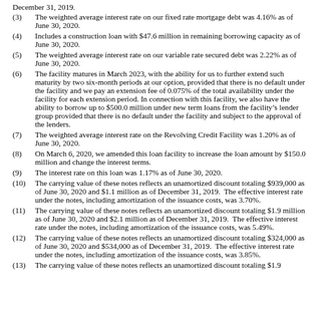(3) The weighted average interest rate on our fixed rate mortgage debt was 4.16% as of June 30, 2020.
(4) Includes a construction loan with $47.6 million in remaining borrowing capacity as of June 30, 2020.
(5) The weighted average interest rate on our variable rate secured debt was 2.22% as of June 30, 2020.
(6) The facility matures in March 2023, with the ability for us to further extend such maturity by two six-month periods at our option, provided that there is no default under the facility and we pay an extension fee of 0.075% of the total availability under the facility for each extension period. In connection with this facility, we also have the ability to borrow up to $500.0 million under new term loans from the facility’s lender group provided that there is no default under the facility and subject to the approval of the lenders.
(7) The weighted average interest rate on the Revolving Credit Facility was 1.20% as of June 30, 2020.
(8) On March 6, 2020, we amended this loan facility to increase the loan amount by $150.0 million and change the interest terms.
(9) The interest rate on this loan was 1.17% as of June 30, 2020.
(10) The carrying value of these notes reflects an unamortized discount totaling $939,000 as of June 30, 2020 and $1.1 million as of December 31, 2019. The effective interest rate under the notes, including amortization of the issuance costs, was 3.70%.
(11) The carrying value of these notes reflects an unamortized discount totaling $1.9 million as of June 30, 2020 and $2.1 million as of December 31, 2019. The effective interest rate under the notes, including amortization of the issuance costs, was 5.49%.
(12) The carrying value of these notes reflects an unamortized discount totaling $324,000 as of June 30, 2020 and $534,000 as of December 31, 2019. The effective interest rate under the notes, including amortization of the issuance costs, was 3.85%.
(13) The carrying value of these notes reflects an unamortized discount totaling $1.9